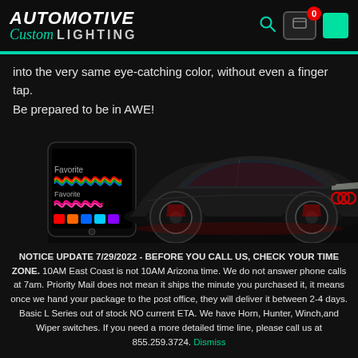AUTOMOTIVE Custom LIGHTING
into the very same eye-catching color, without even a finger tap. Be prepared to be in AWE!
[Figure (photo): A smartphone showing a colorful LED control app next to a black Audi sports car with red interior ambient lighting and illuminated red Audi grille badge, on a dark background.]
NOTICE UPDATE 7/29/2022 - BEFORE YOU CALL US, CHECK YOUR TIME ZONE. 10AM East Coast is not 10AM Arizona time. We do not answer phone calls at 7am. Priority Mail does not mean it ships the minute you purchased it, it means once we hand your package to the post office, they will deliver it between 2-4 days. Basic L Series out of stock NO current ETA. We have Horn, Hunter, Winch,and Wiper switches. If you need a more detailed time line, please call us at 855.259.3724. Dismiss